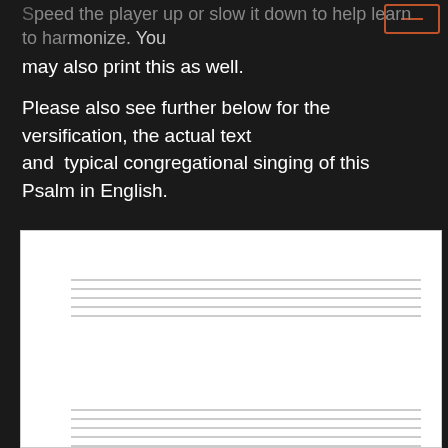Speed the player up or slow it down to help learn to harmonize. You may also print this as well.
Please also see further below for the versification, the actual text and typical congregational singing of this Psalm in English.
[Figure (other): Sheet music notation area showing three groups of five horizontal staff lines on a white background, representing a musical score for a Psalm.]